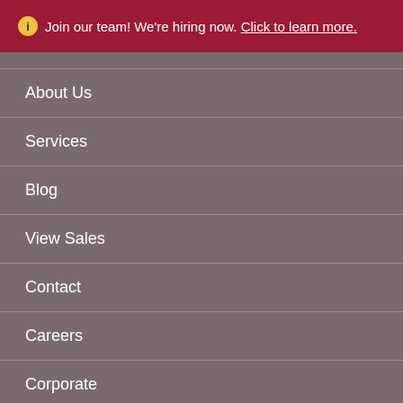Join our team! We're hiring now. Click to learn more.
About Us
Services
Blog
View Sales
Contact
Careers
Corporate
Accessibility
Privacy Policy
[Figure (logo): Facebook and Google social media icon buttons]